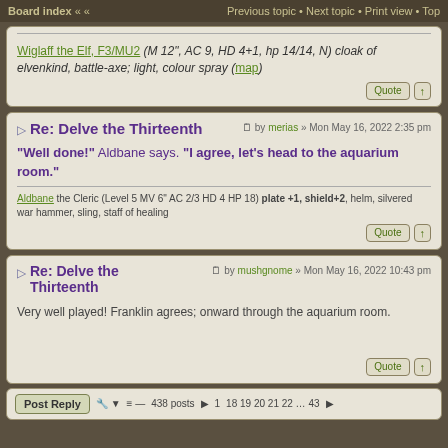Board index « « Previous topic • Next topic • Print view • Top
Wiglaff the Elf, F3/MU2 (M 12", AC 9, HD 4+1, hp 14/14, N) cloak of elvenkind, battle-axe; light, colour spray (map)
Re: Delve the Thirteenth
by merias » Mon May 16, 2022 2:35 pm
"Well done!" Aldbane says. "I agree, let's head to the aquarium room."
Aldbane the Cleric (Level 5 MV 6" AC 2/3 HD 4 HP 18) plate +1, shield+2, helm, silvered war hammer, sling, staff of healing
Re: Delve the Thirteenth
by mushgnome » Mon May 16, 2022 10:43 pm
Very well played! Franklin agrees; onward through the aquarium room.
Post Reply  • 438 posts • 1 • 18 19 20 21 22 … 43